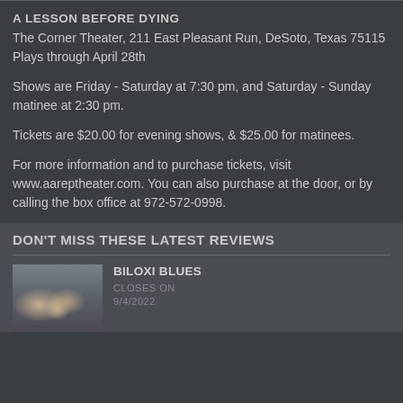A LESSON BEFORE DYING
The Corner Theater, 211 East Pleasant Run, DeSoto, Texas 75115
Plays through April 28th
Shows are Friday - Saturday at 7:30 pm, and Saturday - Sunday matinee at 2:30 pm.
Tickets are $20.00 for evening shows, & $25.00 for matinees.
For more information and to purchase tickets, visit www.aareptheater.com. You can also purchase at the door, or by calling the box office at 972-572-0998.
DON'T MISS THESE LATEST REVIEWS
BILOXI BLUES
CLOSES ON 9/4/2022
[Figure (photo): Promotional photo for Biloxi Blues showing actors in military-style uniforms]